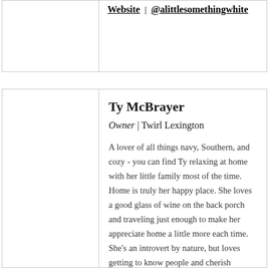Website | @alittlesomethingwhite
Ty McBrayer
Owner | Twirl Lexington
A lover of all things navy, Southern, and cozy - you can find Ty relaxing at home with her little family most of the time. Home is truly her happy place. She loves a good glass of wine on the back porch and traveling just enough to make her appreciate home a little more each time. She's an introvert by nature, but loves getting to know people and cherish friends like they are family. She has a desire to make people feel loved, welcomed, and celebrated well. All of this laid the foundation for her starting Twirl Bridal Boutique back in November 2009. Ty was